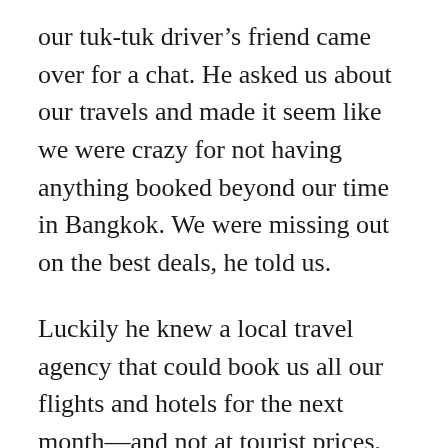our tuk-tuk driver's friend came over for a chat. He asked us about our travels and made it seem like we were crazy for not having anything booked beyond our time in Bangkok. We were missing out on the best deals, he told us.
Luckily he knew a local travel agency that could book us all our flights and hotels for the next month—and not at tourist prices, but local prices!
Paying local prices instead of inflated tourist rates? Let's do it!